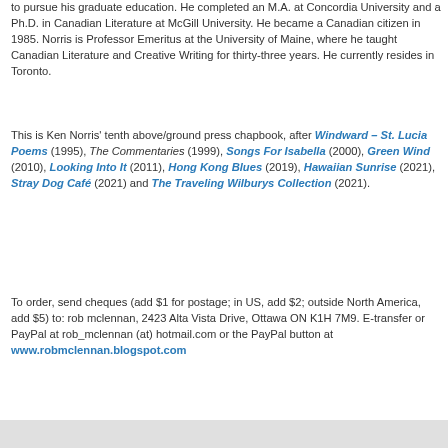to pursue his graduate education. He completed an M.A. at Concordia University and a Ph.D. in Canadian Literature at McGill University. He became a Canadian citizen in 1985. Norris is Professor Emeritus at the University of Maine, where he taught Canadian Literature and Creative Writing for thirty-three years. He currently resides in Toronto.
This is Ken Norris' tenth above/ground press chapbook, after Windward – St. Lucia Poems (1995), The Commentaries (1999), Songs For Isabella (2000), Green Wind (2010), Looking Into It (2011), Hong Kong Blues (2019), Hawaiian Sunrise (2021), Stray Dog Café (2021) and The Traveling Wilburys Collection (2021).
To order, send cheques (add $1 for postage; in US, add $2; outside North America, add $5) to: rob mclennan, 2423 Alta Vista Drive, Ottawa ON K1H 7M9. E-transfer or PayPal at rob_mclennan (at) hotmail.com or the PayPal button at www.robmclennan.blogspot.com